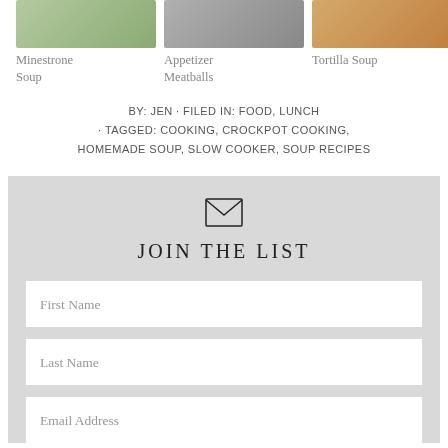[Figure (photo): Three food photos in a row: Minestrone Soup, Appetizer Meatballs, Tortilla Soup]
Minestrone Soup
Appetizer Meatballs
Tortilla Soup
BY: JEN · FILED IN: FOOD, LUNCH · TAGGED: COOKING, CROCKPOT COOKING, HOMEMADE SOUP, SLOW COOKER, SOUP RECIPES
[Figure (infographic): Email signup box with envelope icon, JOIN THE LIST title, and form fields for First Name, Last Name, Email Address]